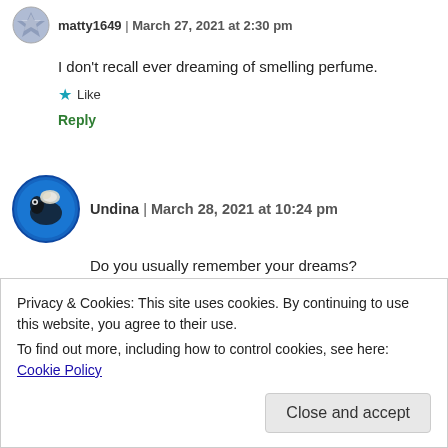matty1649 | March 27, 2021 at 2:30 pm
I don't recall ever dreaming of smelling perfume.
★ Like
Reply
Undina | March 28, 2021 at 10:24 pm
Do you usually remember your dreams?
★ Like
Privacy & Cookies: This site uses cookies. By continuing to use this website, you agree to their use.
To find out more, including how to control cookies, see here: Cookie Policy
Close and accept